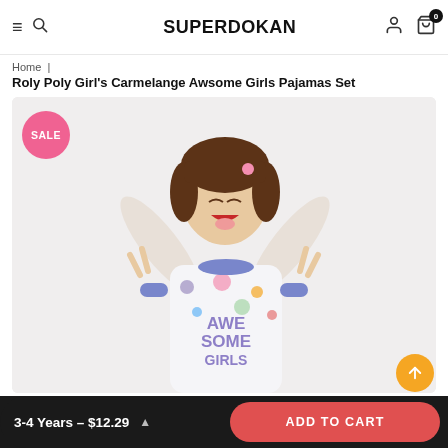SUPERDOKAN
Home | Roly Poly Girl's Carmelange Awsome Girls Pajamas Set
[Figure (photo): A young girl wearing a white long-sleeve pajama top with colorful 'AWESOME GIRLS' print and blue cuffs/collar, making peace signs with both hands and sticking her tongue out. A pink 'SALE' badge appears in the top-left corner of the product image.]
3-4 Years – $12.29
ADD TO CART